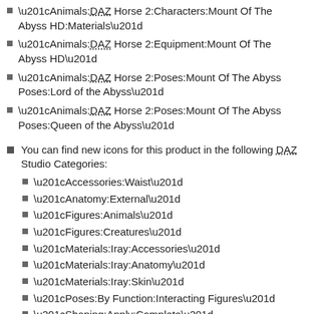“Animals:DAZ Horse 2:Characters:Mount Of The Abyss HD:Materials”
“Animals:DAZ Horse 2:Equipment:Mount Of The Abyss HD”
“Animals:DAZ Horse 2:Poses:Mount Of The Abyss Poses:Lord of the Abyss”
“Animals:DAZ Horse 2:Poses:Mount Of The Abyss Poses:Queen of the Abyss”
You can find new icons for this product in the following DAZ Studio Categories:
“Accessories:Waist”
“Anatomy:External”
“Figures:Animals”
“Figures:Creatures”
“Materials:Iray:Accessories”
“Materials:Iray:Anatomy”
“Materials:Iray:Skin”
“Poses:By Function:Interacting Figures”
“Shaping:Apply:Complete”
“Shaping:Remove:Complete”